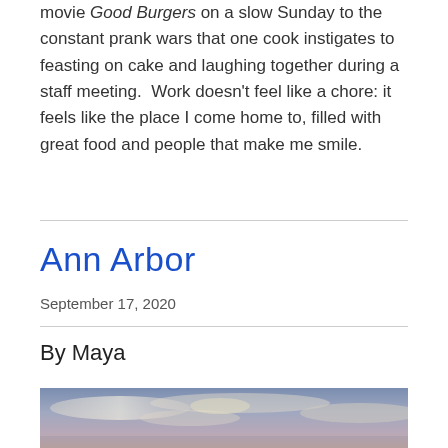movie Good Burgers on a slow Sunday to the constant prank wars that one cook instigates to feasting on cake and laughing together during a staff meeting.  Work doesn't feel like a chore: it feels like the place I come home to, filled with great food and people that make me smile.
Ann Arbor
September 17, 2020
By Maya
[Figure (photo): Sky with clouds, pinkish-blue tones, wide landscape photo at bottom of page]